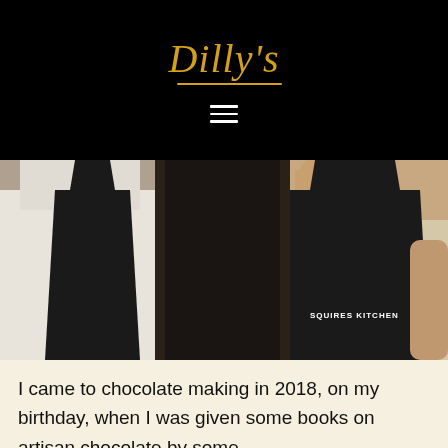Dilly's
[Figure (photo): Two people wearing black aprons in a kitchen setting. One apron reads 'SQUIRES KITCHEN'. One person appears to be in a white chef's coat.]
I came to chocolate making in 2018, on my birthday, when I was given some books on artisan chocolate by some